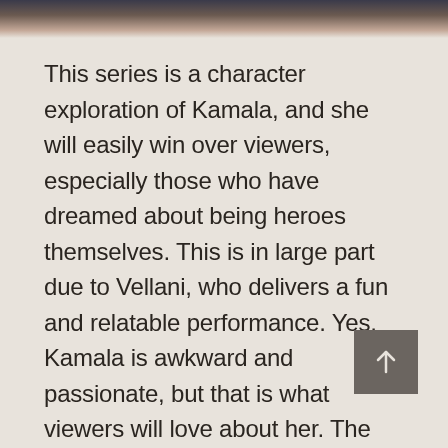[Figure (photo): Blurred image at the top of the page showing dark and warm tones, partially cropped]
This series is a character exploration of Kamala, and she will easily win over viewers, especially those who have dreamed about being heroes themselves. This is in large part due to Vellani, who delivers a fun and relatable performance. Yes, Kamala is awkward and passionate, but that is what viewers will love about her. The issues she faces may not be an Avengers level threat, but for a teenager, they can be devastating, and Ms. Marvel does not treat what she is going through as lesser. Kamala's perspective is all over this series, and for those hoping the highly